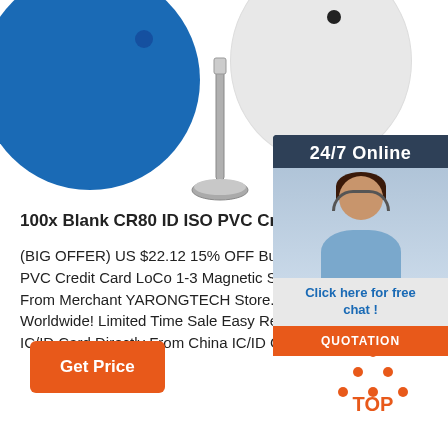[Figure (photo): Product photo showing blue and white circular RFID/ID card discs with a metal pin/nail fastener between them on white background]
[Figure (infographic): 24/7 Online chat widget with customer service agent photo, 'Click here for free chat!' prompt, and orange QUOTATION button]
100x Blank CR80 ID ISO PVC Credit Card LoCo 1-3
(BIG OFFER) US $22.12 15% OFF Buy 100x Blank PVC Credit Card LoCo 1-3 Magnetic Stripe PVC Ca... From Merchant YARONGTECH Store. Enjoy Free S... Worldwide! Limited Time Sale Easy Return. Shop Q... IC/ID Card Directly From China IC/ID Card ...
Get Price
[Figure (logo): TOP logo with orange triangle made of dots above orange text 'TOP']